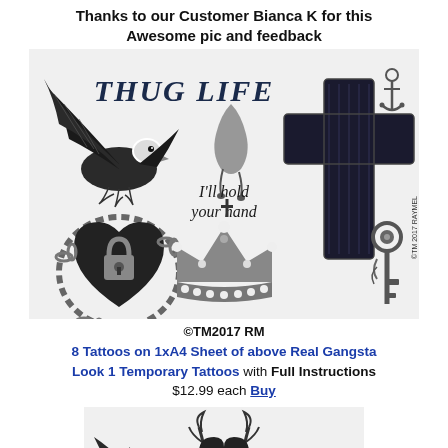Thanks to our Customer Bianca K for this Awesome pic and feedback
[Figure (illustration): Tattoo sheet showing 8 temporary tattoos: eagle, 'THUG LIFE' gothic text, hand dripping, cross, anchor, 'I'll hold your hand' script, chained heart with lock, crown, skeleton key. Copyright mark 2017 RAYMEL.]
©TM2017 RM
8 Tattoos on 1xA4 Sheet of above Real Gangsta Look 1 Temporary Tattoos with Full Instructions $12.99 each Buy
[Figure (illustration): Partial tattoo sheet visible at bottom of page showing additional tattoo designs.]